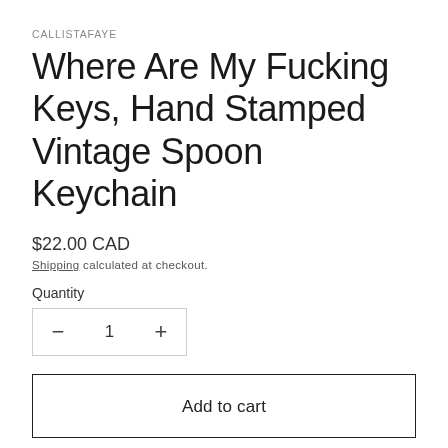CALLISTAFAYE
Where Are My Fucking Keys, Hand Stamped Vintage Spoon Keychain
$22.00 CAD
Shipping calculated at checkout.
Quantity
− 1 +
Add to cart
These keychains are made from recycled vintage spoons that are otherwise too worn to use, giving them a new life &